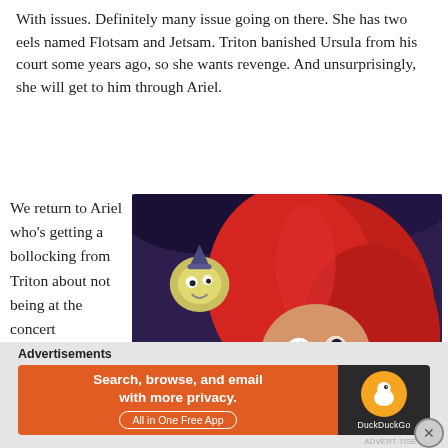With issues. Definitely many issue going on there. She has two eels named Flotsam and Jetsam. Triton banished Ursula from his court some years ago, so she wants revenge. And unsurprisingly, she will get to him through Ariel.
We return to Ariel who’s getting a bollocking from Triton about not being at the concert
[Figure (photo): Animated screenshot from The Little Mermaid showing Ariel with red hair and Flounder (a small fish character) in a dark underwater scene]
Advertisements
[Figure (screenshot): DuckDuckGo advertisement banner: orange left section with text 'Search, browse, and email with more privacy. All in One Free App', dark right section with DuckDuckGo logo and duck icon]